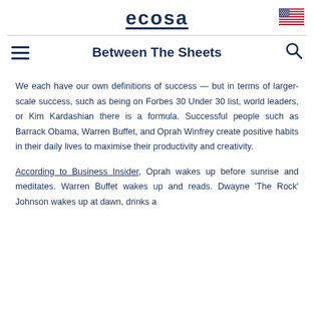ecosa
Between The Sheets
We each have our own definitions of success — but in terms of larger-scale success, such as being on Forbes 30 Under 30 list, world leaders, or Kim Kardashian there is a formula. Successful people such as Barrack Obama, Warren Buffet, and Oprah Winfrey create positive habits in their daily lives to maximise their productivity and creativity.
According to Business Insider, Oprah wakes up before sunrise and meditates. Warren Buffet wakes up and reads. Dwayne 'The Rock' Johnson wakes up at dawn, drinks a